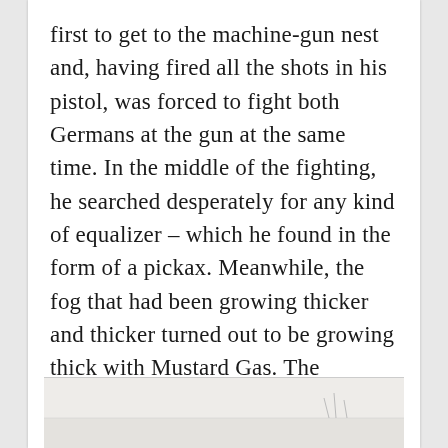first to get to the machine-gun nest and, having fired all the shots in his pistol, was forced to fight both Germans at the gun at the same time. In the middle of the fighting, he searched desperately for any kind of equalizer – which he found in the form of a pickax. Meanwhile, the fog that had been growing thicker and thicker turned out to be growing thick with Mustard Gas. The Americans hightailed it out of the gas area.
[Figure (photo): A partially visible photograph at the bottom of the page, appearing to show a landscape or battlefield scene. The image is mostly cropped out of view.]